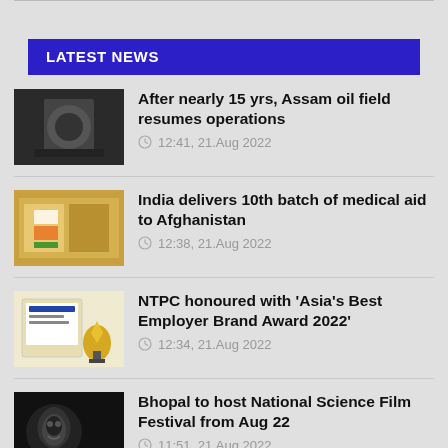LATEST NEWS
After nearly 15 yrs, Assam oil field resumes operations — 12:41, 21.Aug 2022
India delivers 10th batch of medical aid to Afghanistan — 12:38, 21.Aug 2022
NTPC honoured with 'Asia's Best Employer Brand Award 2022' — 12:34, 21.Aug 2022
Bhopal to host National Science Film Festival from Aug 22 — 11:51, 21.Aug 2022
(partial item cut off at bottom)